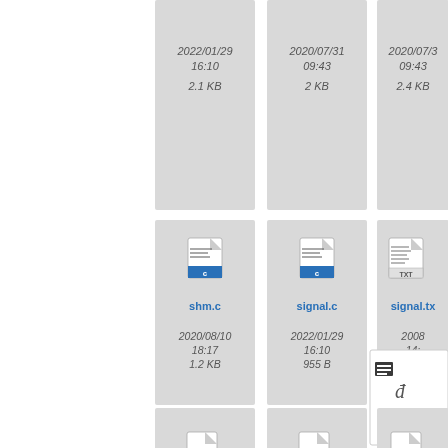[Figure (screenshot): File browser grid view showing C source code files and one TXT file with filenames, dates, and file sizes. Row 1 (partial): three files showing dates 2022/01/29 16:10 2.1 KB, 2020/07/31 09:43 2 KB, 2020/07/31 09:43 2.4 KB. Row 2: shm.c (2020/08/10 18:17 1.2 KB), signal.c (2022/01/29 16:10 955 B), signal.txt (2008/... 14:... 4.x ...) with context menu overlay. Row 3 (partial): sort-fopen.c, sort-mmap.c, testania... with scroll button overlay.]